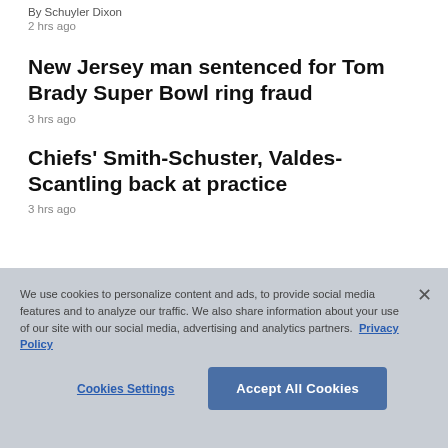By Schuyler Dixon
2 hrs ago
New Jersey man sentenced for Tom Brady Super Bowl ring fraud
3 hrs ago
Chiefs' Smith-Schuster, Valdes-Scantling back at practice
3 hrs ago
We use cookies to personalize content and ads, to provide social media features and to analyze our traffic. We also share information about your use of our site with our social media, advertising and analytics partners. Privacy Policy
Cookies Settings
Accept All Cookies